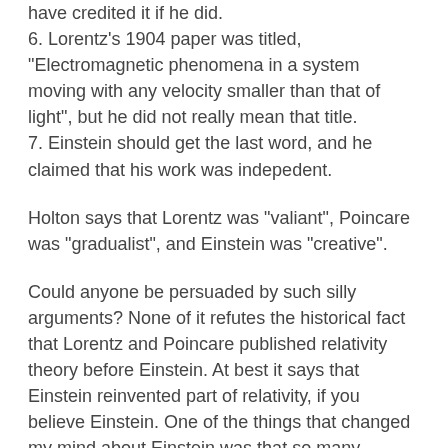have credited it if he did.
6. Lorentz's 1904 paper was titled, "Electromagnetic phenomena in a system moving with any velocity smaller than that of light", but he did not really mean that title.
7. Einstein should get the last word, and he claimed that his work was indepedent.
Holton says that Lorentz was "valiant", Poincare was "gradualist", and Einstein was "creative".
Could anyone be persuaded by such silly arguments? None of it refutes the historical fact that Lorentz and Poincare published relativity theory before Einstein. At best it says that Einstein reinvented part of relativity, if you believe Einstein. One of the things that changed my mind about Einstein was that so many Einstein-worshiping scholars had expended so much effort to prove his originality, and yet their arguments are transparently trivial or ideological or incorrect. It is absurd to say that Einstein would have credited his sources. He spent his whole life lying about his sources. Anyone who knows the first thing about Einstein's personality knows that he was a publicity-seeking egomaniac who never shared